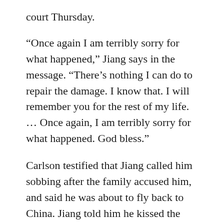court Thursday.
“Once again I am terribly sorry for what happened,” Jiang says in the message. “There’s nothing I can do to repair the damage. I know that. I will remember you for the rest of my life. … Once again, I am terribly sorry for what happened. God bless.”
Carlson testified that Jiang called him sobbing after the family accused him, and said he was about to fly back to China. Jiang told him he kissed the girl but did not have sex with her; Carlson told him to stay if [that] was all he did.
[Figure (other): A circular play button icon (black triangle pointing right inside a circular border)]
The night after the family made the accusation, Jiang left the family a $20,000 check on the windshield of